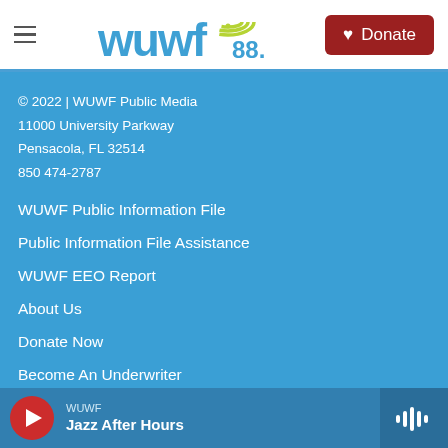WUWF 88.1 — Donate
© 2022 | WUWF Public Media
11000 University Parkway
Pensacola, FL 32514
850 474-2787
WUWF Public Information File
Public Information File Assistance
WUWF EEO Report
About Us
Donate Now
Become An Underwriter
WUWF — Jazz After Hours